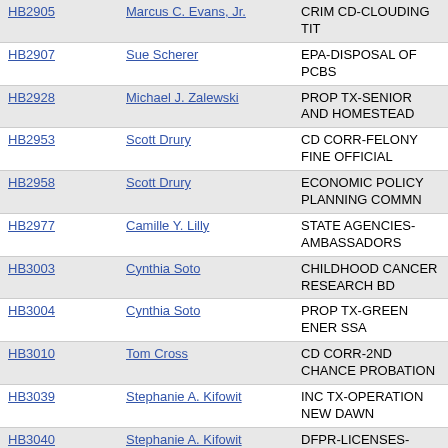| Bill | Sponsor | Description |
| --- | --- | --- |
| HB2905 | Marcus C. Evans, Jr. | CRIM CD-CLOUDING TIT |
| HB2907 | Sue Scherer | EPA-DISPOSAL OF PCBS |
| HB2928 | Michael J. Zalewski | PROP TX-SENIOR AND HOMESTEAD |
| HB2953 | Scott Drury | CD CORR-FELONY FINE OFFICIAL |
| HB2958 | Scott Drury | ECONOMIC POLICY PLANNING COMMN |
| HB2977 | Camille Y. Lilly | STATE AGENCIES-AMBASSADORS |
| HB3003 | Cynthia Soto | CHILDHOOD CANCER RESEARCH BD |
| HB3004 | Cynthia Soto | PROP TX-GREEN ENER SSA |
| HB3010 | Tom Cross | CD CORR-2ND CHANCE PROBATION |
| HB3039 | Stephanie A. Kifowit | INC TX-OPERATION NEW DAWN |
| HB3040 | Stephanie A. Kifowit | DFPR-LICENSES-SERVICE MEMBERS |
| HB3042 | Kelly M. Cassidy | UNEMPLOY INS-SOCIAL SECURITY |
| HB3047 | Elizabeth Hernandez | OFFICE OF NEW AMERICANS |
| HB3049 | Elizabeth Hernandez | LATINO FAMILY COMMISSION |
| HB3052 | Emily McAsey | BAN CRIB BUMPER PAD |
| HB3054 | Silvana Tabares | VEH CD - REMOVING POLICE MARKS |